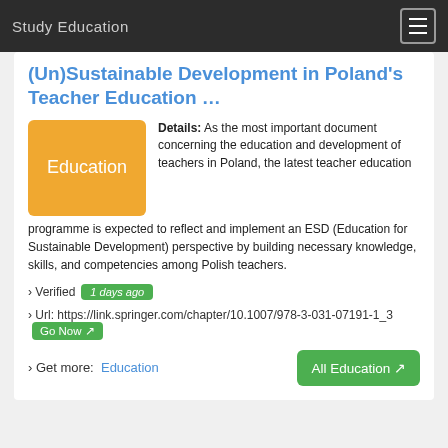Study Education
(Un)Sustainable Development in Poland's Teacher Education …
[Figure (illustration): Orange badge with white text 'Education']
Details: As the most important document concerning the education and development of teachers in Poland, the latest teacher education programme is expected to reflect and implement an ESD (Education for Sustainable Development) perspective by building necessary knowledge, skills, and competencies among Polish teachers.
› Verified  1 days ago
› Url: https://link.springer.com/chapter/10.1007/978-3-031-07191-1_3  Go Now
› Get more:  Education    All Education